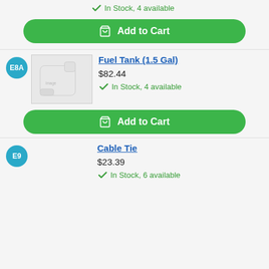In Stock, 4 available
[Figure (other): Add to Cart button (green rounded rectangle) with cart icon]
E8A
[Figure (photo): Fuel Tank (1.5 Gal) product image - white plastic fuel tank]
Fuel Tank (1.5 Gal)
$82.44
In Stock, 4 available
[Figure (other): Add to Cart button (green rounded rectangle) with cart icon]
E9
Cable Tie
$23.39
In Stock, 6 available